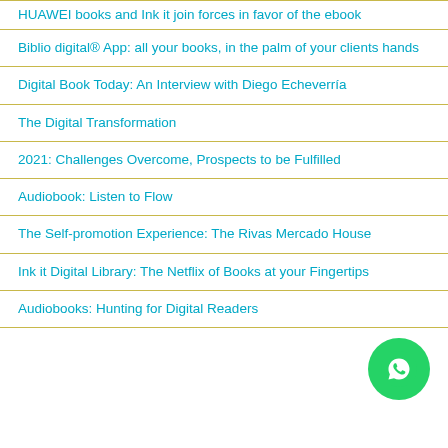HUAWEI books and Ink it join forces in favor of the ebook
Biblio digital® App: all your books, in the palm of your clients hands
Digital Book Today: An Interview with Diego Echeverría
The Digital Transformation
2021: Challenges Overcome, Prospects to be Fulfilled
Audiobook: Listen to Flow
The Self-promotion Experience: The Rivas Mercado House
Ink it Digital Library: The Netflix of Books at your Fingertips
Audiobooks: Hunting for Digital Readers